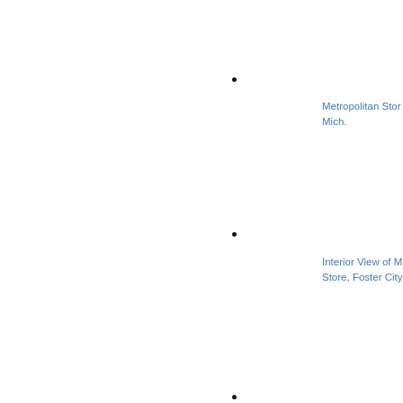•
Metropolitan Stor
Mich.
•
Interior View of M
Store, Foster City
•
Morgan Lumber a
Company store, F